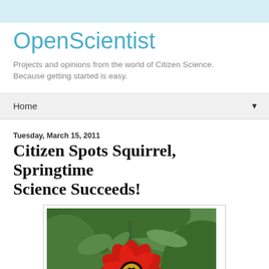OpenScientist
Projects and opinions from the world of Citizen Science. Because getting started is easy.
Home
Tuesday, March 15, 2011
Citizen Spots Squirrel, Springtime Science Succeeds!
[Figure (photo): A red zinnia flower with green leaves in the background, shown in a framed photo with white border.]